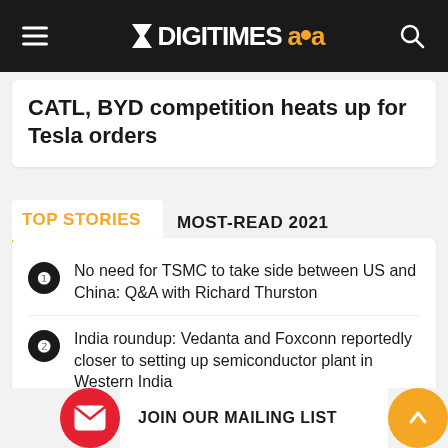DIGITIMES asia
CATL, BYD competition heats up for Tesla orders
TOP STORIES | MOST-READ 2021
No need for TSMC to take side between US and China: Q&A with Richard Thurston
India roundup: Vedanta and Foxconn reportedly closer to setting up semiconductor plant in Western India
Chinese IC... mitigate U...